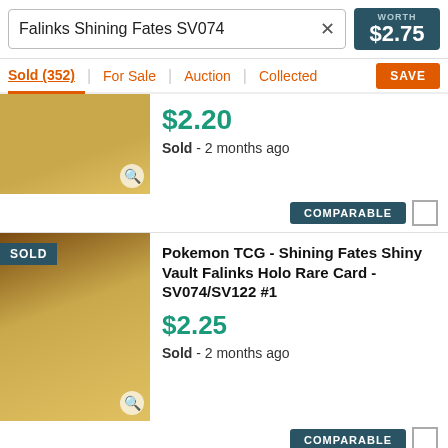Falinks Shining Fates SV074
WORTH $2.75
Sold (352) | For Sale | Auction | Collected
SAVE
$2.20
Sold - 2 months ago
COMPARABLE
Pokemon TCG - Shining Fates Shiny Vault Falinks Holo Rare Card - SV074/SV122 #1
$2.25
Sold - 2 months ago
COMPARABLE
2021 Pokemon Shining Fates Falinks Holo SV074/SV122 CGC 9 Mint Condition Card!